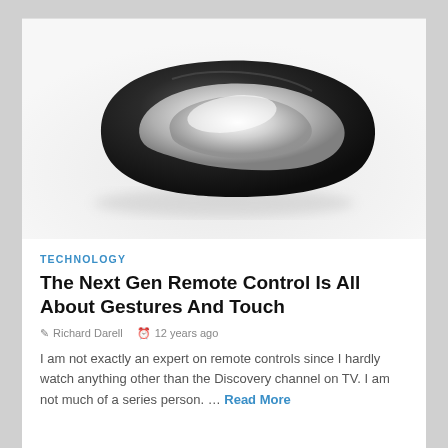[Figure (photo): A sleek futuristic black remote control with an oval silver touch surface, resembling a smooth pebble shape, photographed on a white/grey gradient background.]
TECHNOLOGY
The Next Gen Remote Control Is All About Gestures And Touch
Richard Darell   12 years ago
I am not exactly an expert on remote controls since I hardly watch anything other than the Discovery channel on TV. I am not much of a series person. ... Read More